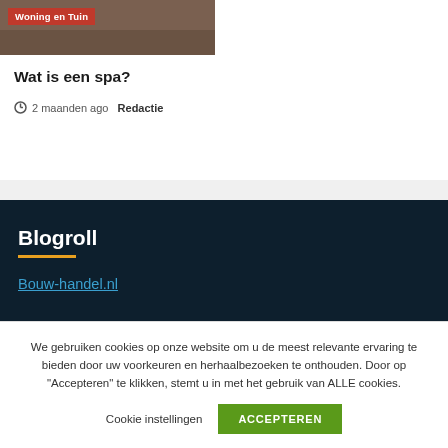[Figure (photo): Article card image with brown/dark background, category badge 'Woning en Tuin' in red]
Wat is een spa?
2 maanden ago  Redactie
Blogroll
Bouw-handel.nl
We gebruiken cookies op onze website om u de meest relevante ervaring te bieden door uw voorkeuren en herhaalbezoeken te onthouden. Door op "Accepteren" te klikken, stemt u in met het gebruik van ALLE cookies.
Cookie instellingen  ACCEPTEREN